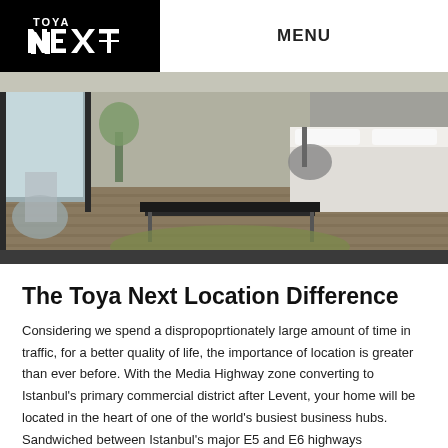[Figure (logo): Toya Next logo — white text on black background, showing 'TOYA' above stylized 'NEXT' lettering]
MENU
[Figure (photo): Interior render of a modern bedroom/living space with a coffee table, chair, bed, desk chair, hardwood floor, and large windows]
The Toya Next Location Difference
Considering we spend a dispropoprtionately large amount of time in traffic, for a better quality of life, the importance of location is greater than ever before. With the Media Highway zone converting to Istanbul's primary commercial district after Levent, your home will be located in the heart of one of the world's busiest business hubs. Sandwiched between Istanbul's major E5 and E6 highways